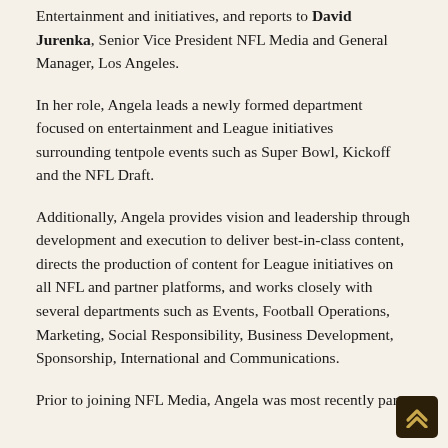Entertainment and initiatives, and reports to David Jurenka, Senior Vice President NFL Media and General Manager, Los Angeles.
In her role, Angela leads a newly formed department focused on entertainment and League initiatives surrounding tentpole events such as Super Bowl, Kickoff and the NFL Draft.
Additionally, Angela provides vision and leadership through development and execution to deliver best-in-class content, directs the production of content for League initiatives on all NFL and partner platforms, and works closely with several departments such as Events, Football Operations, Marketing, Social Responsibility, Business Development, Sponsorship, International and Communications.
Prior to joining NFL Media, Angela was most recently part